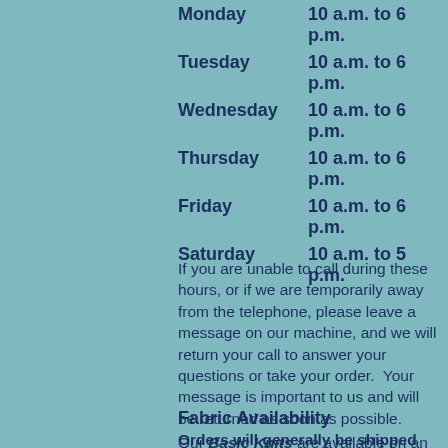Monday   10 a.m. to 6 p.m.
Tuesday   10 a.m. to 6 p.m.
Wednesday   10 a.m. to 6 p.m.
Thursday   10 a.m. to 6 p.m.
Friday   10 a.m. to 6 p.m.
Saturday   10 a.m. to 5 p.m.
If you are unable to call during these hours, or if we are temporarily away from the telephone, please leave a message on our machine, and we will return your call to answer your questions or take your order.  Your message is important to us and will be returned as soon as possible. Orders will generally be shipped within 24 to 48 hours.
Fabric Availability
Our Basic Knits are available on an